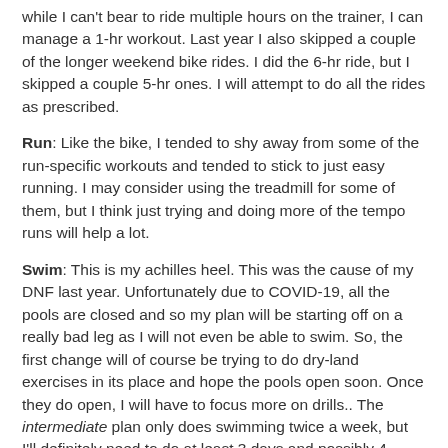while I can't bear to ride multiple hours on the trainer, I can manage a 1-hr workout. Last year I also skipped a couple of the longer weekend bike rides. I did the 6-hr ride, but I skipped a couple 5-hr ones. I will attempt to do all the rides as prescribed.
Run: Like the bike, I tended to shy away from some of the run-specific workouts and tended to stick to just easy running. I may consider using the treadmill for some of them, but I think just trying and doing more of the tempo runs will help a lot.
Swim: This is my achilles heel. This was the cause of my DNF last year. Unfortunately due to COVID-19, all the pools are closed and so my plan will be starting off on a really bad leg as I will not even be able to swim. So, the first change will of course be trying to do dry-land exercises in its place and hope the pools open soon. Once they do open, I will have to focus more on drills.. The intermediate plan only does swimming twice a week, but I'll definitely need to do at least 3 days and possibly 4, even if the 4th is just an easy day.
Weight: I have to lose weight. I have to get to the start line weighing less than I did last year. It will make a huge difference on the bike and run. Also, I will have to get my weight down during the first half of the